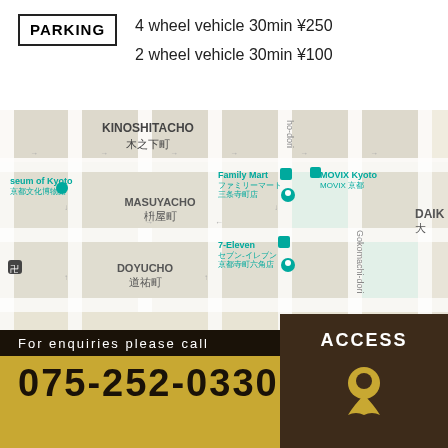PARKING   4 wheel vehicle 30min ¥250
   2 wheel vehicle 30min ¥100
[Figure (map): Street map of Kyoto area showing landmarks: Museum of Kyoto (京都文化博物館), Family Mart (ファミリーマート三条寺町店), MOVIX Kyoto (MOVIX 京都), 7-Eleven (セブン-イレブン 京都寺町六角店), Lawson + Drug Hikari (ローソンドラッグ ひかり銃薬師髙倉店), Nishiki Market, FamilyMart (ファミリーマート河原町銃薬師店), FamilyMart Shijo-Kawaramachi (ファミリーマート白糸河原町店). Neighborhoods labeled: KINOSHITACHO 木之下町, MASUYACHO 枡屋町, DOYUCHO 道祐町, DAIKOKUCHO 大黒町, YAMAZAKI 山崎, DAIK 大. Streets: ho-dori, Gokomachi-dori, Fuya-.]
For enquiries please call
075-252-0330
ACCESS